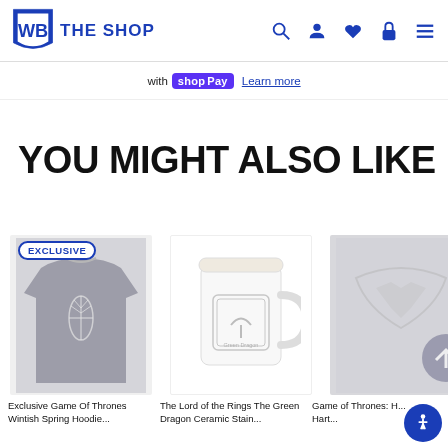WB THE SHOP
with shop Pay Learn more
YOU MIGHT ALSO LIKE
[Figure (photo): Exclusive Game of Thrones sweater product image with EXCLUSIVE badge]
[Figure (photo): The Lord of the Rings The Green Dragon mug ceramic stein product image]
[Figure (photo): Game of Thrones Stark direwolf product image (partially visible)]
Exclusive Game Of Thrones Wintish...
The Lord of the Rings The Green Dragon Ceramic Stain...
Game of Thrones: H... Hart...